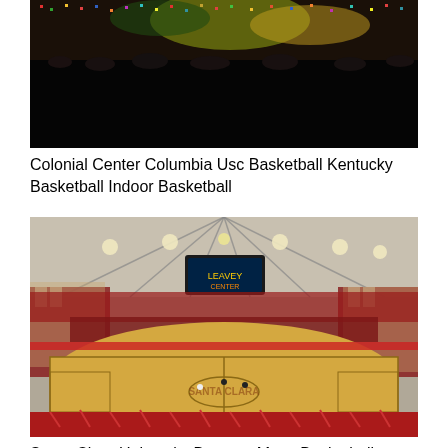[Figure (photo): Panoramic photo of a packed basketball arena interior, dark surroundings with colorful crowd visible, viewed from above]
Colonial Center Columbia Usc Basketball Kentucky Basketball Indoor Basketball
[Figure (photo): Wide-angle fisheye photo of Santa Clara University Leavey Center basketball arena during a game, showing the full court, packed red-clad crowd, scoreboard, and indoor ceiling structure]
Santa Clara University Broncos Mens Basketball Leavey Center Santa Clara Ca Santa Clara Santa Clara University